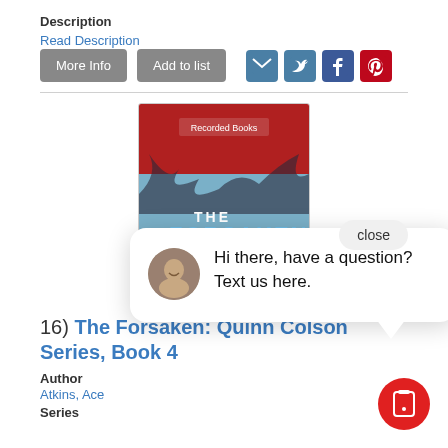Description
Read Description
More Info | Add to list
[Figure (screenshot): Book cover for 'The Forsaken' by Ace Atkins, Quinn Colson series, published by Recorded Books. Red header with bare tree branches and blue-grey misty background. Text: THE FORSAKEN, A Quinn Colson Novel, New York Times Bestselling Author ACE ATKINS.]
Hi there, have a question? Text us here.
16)  The Forsaken: Quinn Colson Series, Book 4
Author
Atkins, Ace
Series